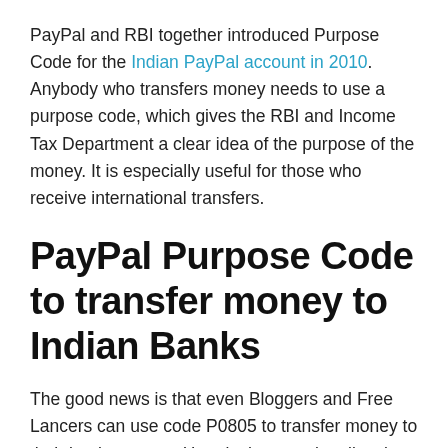PayPal and RBI together introduced Purpose Code for the Indian PayPal account in 2010. Anybody who transfers money needs to use a purpose code, which gives the RBI and Income Tax Department a clear idea of the purpose of the money. It is especially useful for those who receive international transfers.
PayPal Purpose Code to transfer money to Indian Banks
The good news is that even Bloggers and Free Lancers can use code P0805 to transfer money to their bank account. Here is the complete list along with information on how you can set a default Purpose Code and change it if your business needs it. It is also possible to change Purpose code on the fly if you